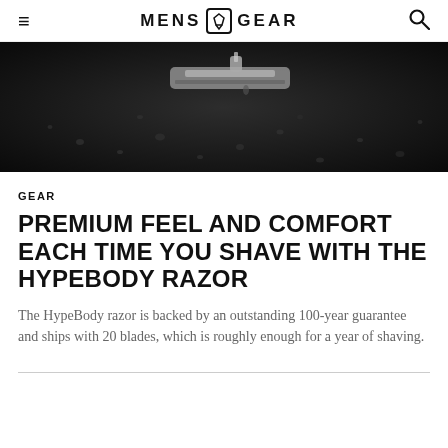MENS GEAR
[Figure (photo): Close-up dark photo of a razor or razor blade on a wet surface with water droplets, dark background]
GEAR
PREMIUM FEEL AND COMFORT EACH TIME YOU SHAVE WITH THE HYPEBODY RAZOR
The HypeBody razor is backed by an outstanding 100-year guarantee and ships with 20 blades, which is roughly enough for a year of shaving.